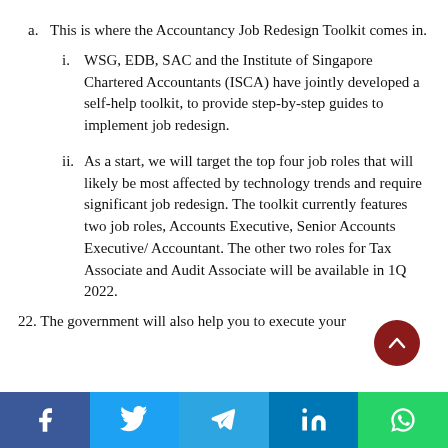a. This is where the Accountancy Job Redesign Toolkit comes in.
i. WSG, EDB, SAC and the Institute of Singapore Chartered Accountants (ISCA) have jointly developed a self-help toolkit, to provide step-by-step guides to implement job redesign.
ii. As a start, we will target the top four job roles that will likely be most affected by technology trends and require significant job redesign. The toolkit currently features two job roles, Accounts Executive, Senior Accounts Executive/ Accountant. The other two roles for Tax Associate and Audit Associate will be available in 1Q 2022.
22. The government will also help you to execute your